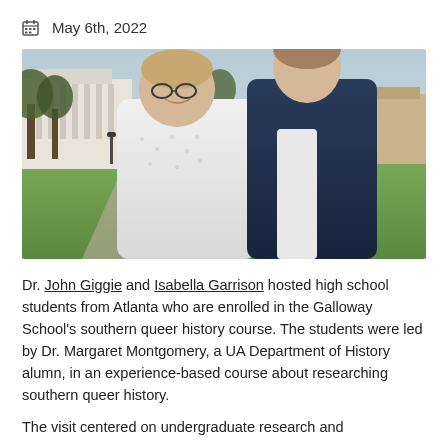May 6th, 2022
[Figure (photo): Two people standing outdoors on a university campus with trees and buildings in the background. The person on the left wears a white patterned shirt and glasses; the person on the right wears a navy blazer.]
Dr. John Giggie and Isabella Garrison hosted high school students from Atlanta who are enrolled in the Galloway School's southern queer history course. The students were led by Dr. Margaret Montgomery, a UA Department of History alumn, in an experience-based course about researching southern queer history.
The visit centered on undergraduate research and